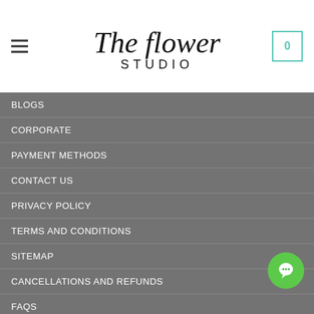[Figure (logo): The Flower Studio logo with hamburger menu and cart icon showing 0]
BLOGS
CORPORATE
PAYMENT METHODS
CONTACT US
PRIVACY POLICY
TERMS AND CONDITIONS
SITEMAP
CANCELLATIONS AND REFUNDS
FAQS
PAYMENT METHODS
[Figure (logo): 3D Secure payment logos: Verified by VISA and MasterCard SecureCode]